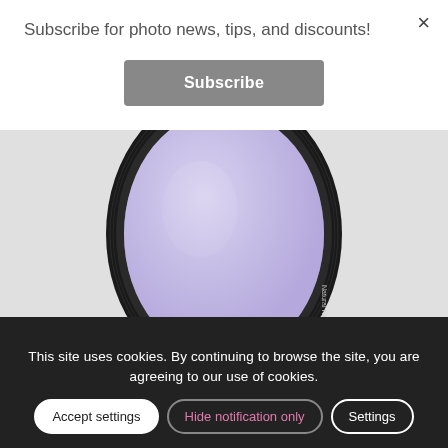Subscribe for photo news, tips, and discounts!
Subscribe
×
[Figure (photo): A circular camera lens filter with a purple/lavender glass, black metal rim, and text reading 'Natural Night' on the side, photographed at an angle on a light grey background.]
This site uses cookies. By continuing to browse the site, you are agreeing to our use of cookies.
Accept settings
Hide notification only
Settings